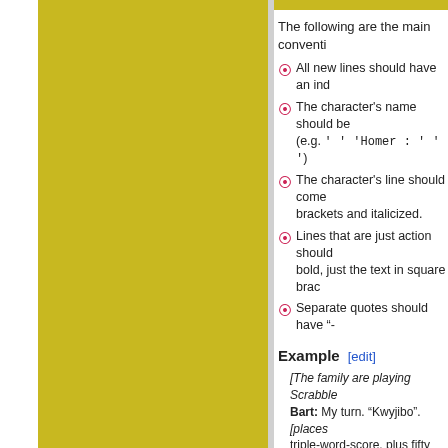The following are the main conventi
All new lines should have an ind
The character's name should be (e.g. '''Homer : ''' )
The character's line should come brackets and italicized.
Lines that are just action should bold, just the text in square brac
Separate quotes should have "-
Example [edit]
[The family are playing Scrabble. Bart: My turn. "Kwyjibo". [places triple-word-score, plus fifty points here—; Homer: [grabs Bart with his left you little cheater! You're not goin Bart: "Kwyjibo." [observing Hom With no chin.